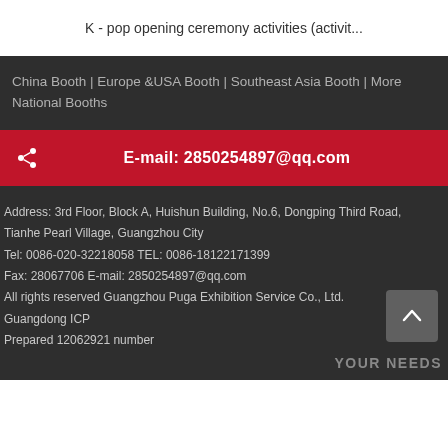K - pop opening ceremony activities (activit...
China Booth | Europe &USA Booth | Southeast Asia Booth | More National Booths
E-mail: 2850254897@qq.com
Address: 3rd Floor, Block A, Huishun Building, No.6, Dongping Third Road, Tianhe Pearl Village, Guangzhou City
Tel: 0086-020-32218058 TEL: 0086-18122171399
Fax: 28067706 E-mail: 2850254897@qq.com
All rights reserved Guangzhou Puga Exhibition Service Co., Ltd.
Guangdong ICP
Prepared 12062921 number
YOUR NEEDS